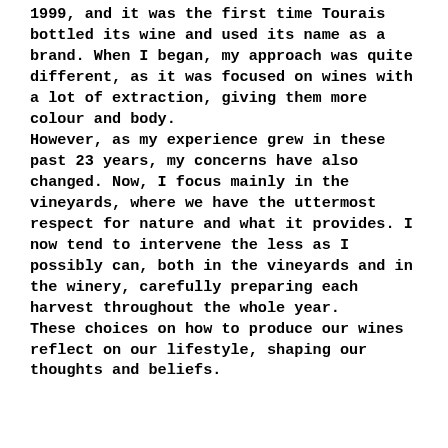1999, and it was the first time Tourais bottled its wine and used its name as a brand. When I began, my approach was quite different, as it was focused on wines with a lot of extraction, giving them more colour and body. However, as my experience grew in these past 23 years, my concerns have also changed. Now, I focus mainly in the vineyards, where we have the uttermost respect for nature and what it provides. I now tend to intervene the less as I possibly can, both in the vineyards and in the winery, carefully preparing each harvest throughout the whole year. These choices on how to produce our wines reflect on our lifestyle, shaping our thoughts and beliefs.